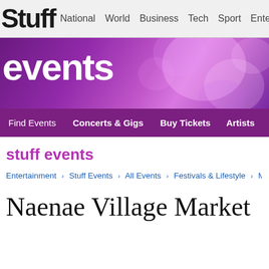Stuff  National  World  Business  Tech  Sport  Entertainment
[Figure (illustration): Events banner with purple bokeh background and large white 'events' text]
stuff events
Entertainment › Stuff Events › All Events › Festivals & Lifestyle › Markets and Fairs ›
Naenae Village Market